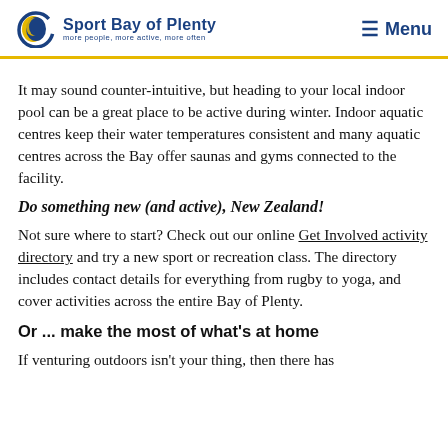Sport Bay of Plenty — more people, more active, more often | Menu
It may sound counter-intuitive, but heading to your local indoor pool can be a great place to be active during winter. Indoor aquatic centres keep their water temperatures consistent and many aquatic centres across the Bay offer saunas and gyms connected to the facility.
Do something new (and active), New Zealand!
Not sure where to start? Check out our online Get Involved activity directory and try a new sport or recreation class. The directory includes contact details for everything from rugby to yoga, and cover activities across the entire Bay of Plenty.
Or ... make the most of what's at home
If venturing outdoors isn't your thing, then there has